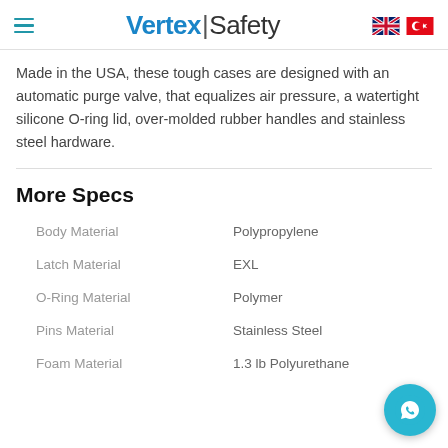Vertex|Safety
Made in the USA, these tough cases are designed with an automatic purge valve, that equalizes air pressure, a watertight silicone O-ring lid, over-molded rubber handles and stainless steel hardware.
More Specs
| Spec | Value |
| --- | --- |
| Body Material | Polypropylene |
| Latch Material | EXL |
| O-Ring Material | Polymer |
| Pins Material | Stainless Steel |
| Foam Material | 1.3 lb Polyurethane |